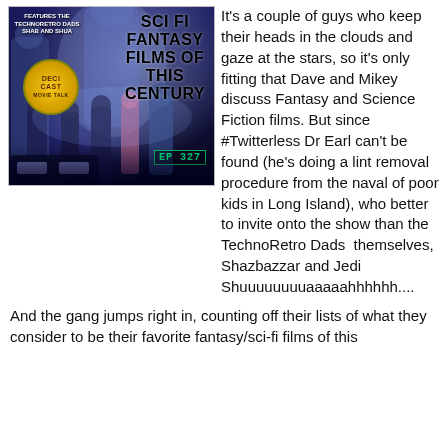[Figure (illustration): Podcast episode cover art for 'Sci Fi Fantasy Films of This Century - EP 327' featuring sci-fi characters and a dark futuristic background with the Decicast logo]
It's a couple of guys who keep their heads in the clouds and gaze at the stars, so it's only fitting that Dave and Mikey discuss Fantasy and Science Fiction films. But since #Twitterless Dr Earl can't be found (he's doing a lint removal procedure from the naval of poor kids in Long Island), who better to invite onto the show than the TechnoRetro Dads  themselves, Shazbazzar and Jedi Shuuuuuuuuaaaaahhhhhh....
And the gang jumps right in, counting off their lists of what they consider to be their favorite fantasy/sci-fi films of this